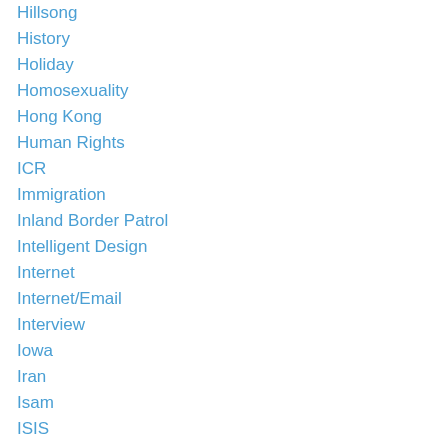Hillsong
History
Holiday
Homosexuality
Hong Kong
Human Rights
ICR
Immigration
Inland Border Patrol
Intelligent Design
Internet
Internet/Email
Interview
Iowa
Iran
Isam
ISIS
Islam
Israel
Israel News